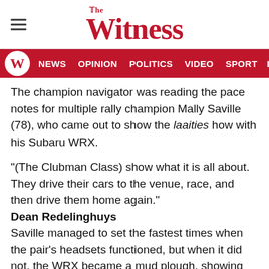The Witness
NEWS  OPINION  POLITICS  VIDEO  SPORT  LIFEST
The champion navigator was reading the pace notes for multiple rally champion Mally Saville (78), who came out to show the laaities how with his Subaru WRX.
“(The Clubman Class) show what it is all about. They drive their cars to the venue, race, and then drive them home again.”
Dean Redelinghuys
Saville managed to set the fastest times when the pair’s headsets functioned, but when it did not, the WRX became a mud plough, showing the importance of having a co-driver who can warn of upcoming corners when driving at speed.
On the other side of the rally spectrum, in the Clubmans Class, Kurt Volmink was the only entrant to finish, using all his drifting and spinning skills to get the “Mighty Matiz” over the finish line.
Redelinghuys said that the next gen… the latest… the Clubs…